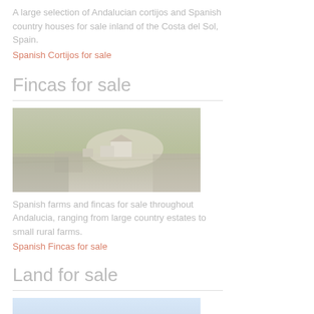A large selection of Andalucian cortijos and Spanish country houses for sale inland of the Costa del Sol, Spain.
Spanish Cortijos for sale
Fincas for sale
[Figure (photo): A rural landscape with farm buildings and agricultural land in Andalucia]
Spanish farms and fincas for sale throughout Andalucia, ranging from large country estates to small rural farms.
Spanish Fincas for sale
Land for sale
[Figure (photo): A landscape photo showing open land with mountains in the background, Costa del Sol area]